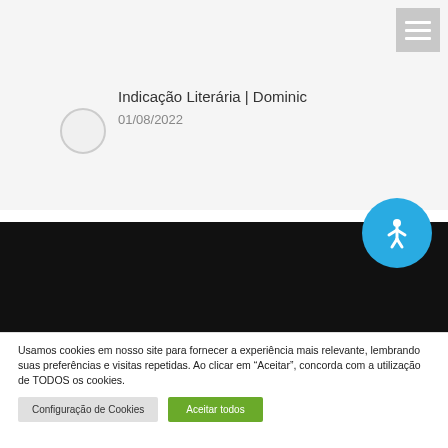Indicação Literária | Dominic
01/08/2022
[Figure (screenshot): Dark navigation bar with accessibility button and logo with text ASSOCIAÇÃO DOS]
Usamos cookies em nosso site para fornecer a experiência mais relevante, lembrando suas preferências e visitas repetidas. Ao clicar em "Aceitar", concorda com a utilização de TODOS os cookies.
Configuração de Cookies
Aceitar todos